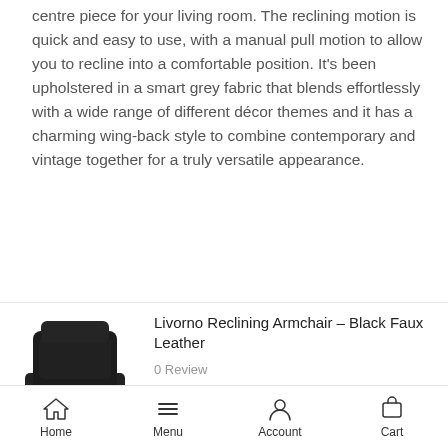centre piece for your living room. The reclining motion is quick and easy to use, with a manual pull motion to allow you to recline into a comfortable position. It's been upholstered in a smart grey fabric that blends effortlessly with a wide range of different décor themes and it has a charming wing-back style to combine contemporary and vintage together for a truly versatile appearance.
[Figure (photo): Black faux leather reclining armchair product photo]
Livorno Reclining Armchair – Black Faux Leather
0 Review
SKU: 08230
Availability: 2~3 Weeks
Home  Menu  Account  Cart